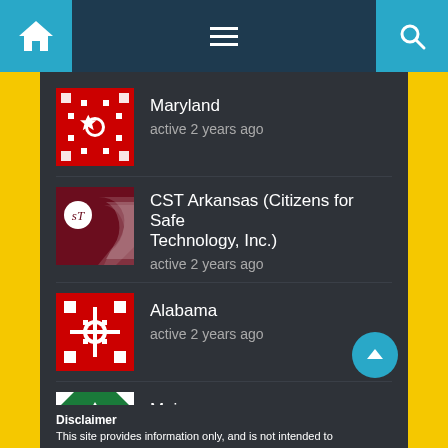Navigation bar with home, menu, and search icons
Maryland
active 2 years ago
CST Arkansas (Citizens for Safe Technology, Inc.)
active 2 years ago
Alabama
active 2 years ago
Maine
active 2 years ago
Disclaimer
This site provides information only, and is not intended to